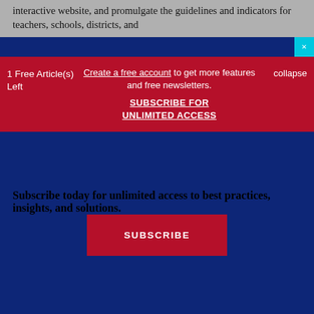interactive website, and promulgate the guidelines and indicators for teachers, schools, districts, and
1 Free Article(s) Left
Create a free account to get more features and free newsletters. SUBSCRIBE FOR UNLIMITED ACCESS
collapse
Subscribe today for unlimited access to best practices, insights, and solutions.
SUBSCRIBE